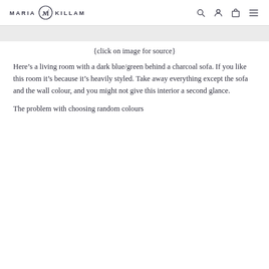MARIA KILLAM
{click on image for source}
Here’s a living room with a dark blue/green behind a charcoal sofa. If you like this room it’s because it’s heavily styled. Take away everything except the sofa and the wall colour, and you might not give this interior a second glance.
The problem with choosing random colours for…